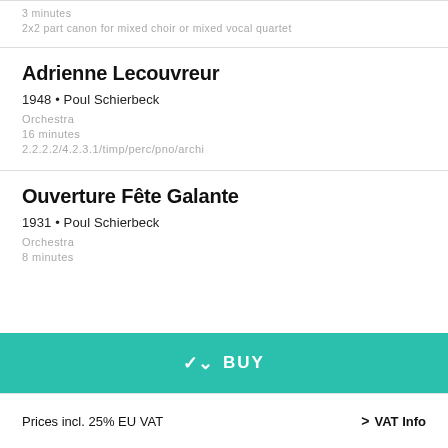3 minutes
2x2 part canon for mixed choir or mixed vocal quartet
Adrienne Lecouvreur
1948 • Poul Schierbeck
Orchestra
16 minutes
2.2.2.2/4.2.3.1/timp/perc/pno/archi
Ouverture Fête Galante
1931 • Poul Schierbeck
Orchestra
8 minutes
BUY
Prices incl. 25% EU VAT
> VAT Info